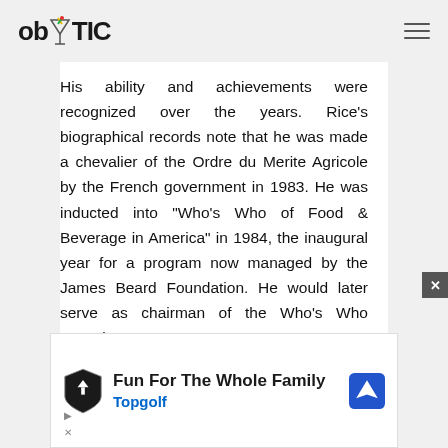ob TIC
His ability and achievements were recognized over the years. Rice's biographical records note that he was made a chevalier of the Ordre du Merite Agricole by the French government in 1983. He was inducted into "Who's Who of Food & Beverage in America" in 1984, the inaugural year for a program now managed by the James Beard Foundation. He would later serve as chairman of the Who's Who committee
[Figure (infographic): Advertisement banner for Topgolf: 'Fun For The Whole Family' with Topgolf logo and navigation icon]